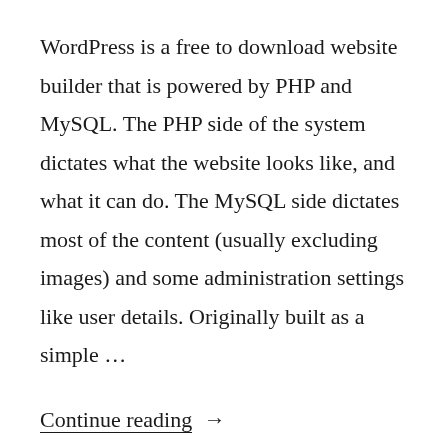WordPress is a free to download website builder that is powered by PHP and MySQL. The PHP side of the system dictates what the website looks like, and what it can do. The MySQL side dictates most of the content (usually excluding images) and some administration settings like user details. Originally built as a simple …
Continue reading →